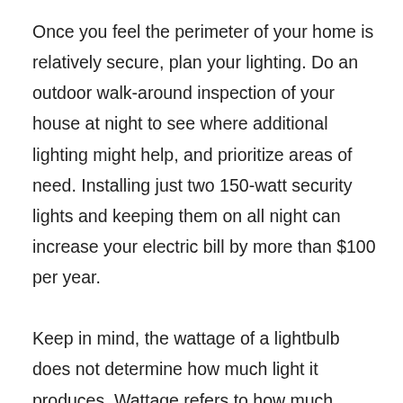Once you feel the perimeter of your home is relatively secure, plan your lighting. Do an outdoor walk-around inspection of your house at night to see where additional lighting might help, and prioritize areas of need. Installing just two 150-watt security lights and keeping them on all night can increase your electric bill by more than $100 per year.

Keep in mind, the wattage of a lightbulb does not determine how much light it produces. Wattage refers to how much electricity a bulb uses. Instead, look for light output — measured in lumens — on bulb packaging